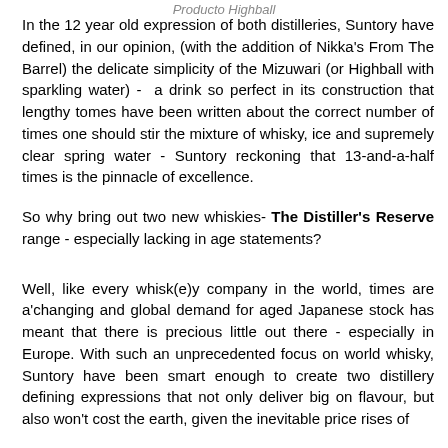Producto Highball
In the 12 year old expression of both distilleries, Suntory have defined, in our opinion, (with the addition of Nikka's From The Barrel) the delicate simplicity of the Mizuwari (or Highball with sparkling water) - a drink so perfect in its construction that lengthy tomes have been written about the correct number of times one should stir the mixture of whisky, ice and supremely clear spring water - Suntory reckoning that 13-and-a-half times is the pinnacle of excellence.
So why bring out two new whiskies- The Distiller's Reserve range - especially lacking in age statements?
Well, like every whisk(e)y company in the world, times are a'changing and global demand for aged Japanese stock has meant that there is precious little out there - especially in Europe. With such an unprecedented focus on world whisky, Suntory have been smart enough to create two distillery defining expressions that not only deliver big on flavour, but also won't cost the earth, given the inevitable price rises of